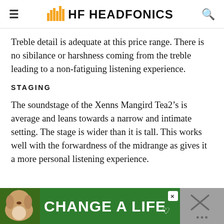HEADFONICS
Treble detail is adequate at this price range. There is no sibilance or harshness coming from the treble leading to a non-fatiguing listening experience.
STAGING
The soundstage of the Xenns Mangird Tea2’s is average and leans towards a narrow and intimate setting. The stage is wider than it is tall. This works well with the forwardness of the midrange as gives it a more personal listening experience.
[Figure (photo): Advertisement banner: green background with dog image and text 'CHANGE A LIFE', close button, and grey right panel with X icon]